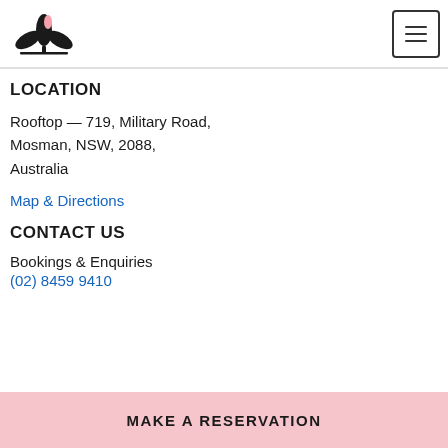[Figure (logo): Black lotus/plant illustration logo with pink accent]
[Figure (other): Hamburger menu button icon with three horizontal bars inside a bordered square]
LOCATION
Rooftop — 719, Military Road,
Mosman, NSW, 2088,
Australia
Map & Directions
CONTACT US
Bookings & Enquiries
(02) 8459 9410
MAKE A RESERVATION